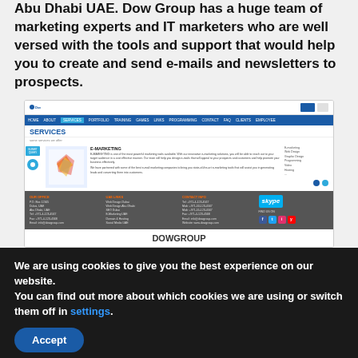Web Design Development agency Dubai Solution Dubai Abu Dhabi UAE. Dow Group has a huge team of marketing experts and IT marketers who are well versed with the tools and support that would help you to create and send e-mails and newsletters to prospects.
[Figure (screenshot): Screenshot of the Dow Group website showing the Services page with a navigation bar, content area with bird illustration, text content, and a dark footer with contact information, Skype logo, and social media icons. Below the screenshot is the label DOWGROUP.]
DOWGROUP
We are using cookies to give you the best experience on our website.
You can find out more about which cookies we are using or switch them off in settings.
Accept